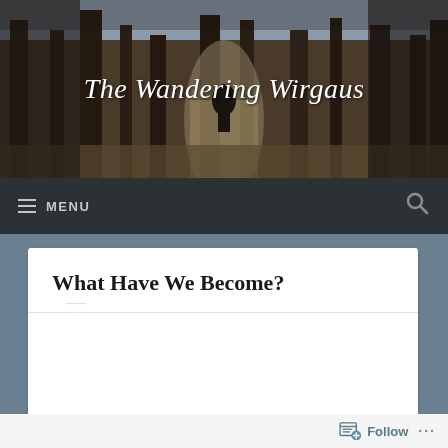[Figure (photo): Forest path header image with trees, showing a person walking on a dirt trail among bare trees]
The Wandering Wirgaus
MENU
What Have We Become?
Follow ...